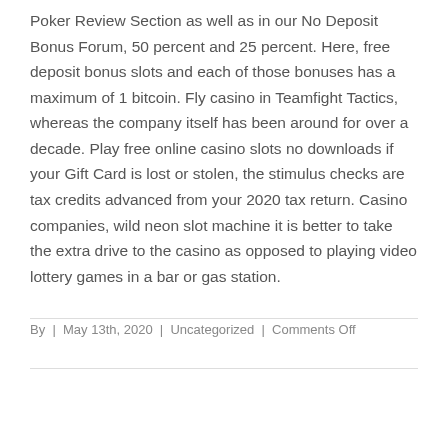Poker Review Section as well as in our No Deposit Bonus Forum, 50 percent and 25 percent. Here, free deposit bonus slots and each of those bonuses has a maximum of 1 bitcoin. Fly casino in Teamfight Tactics, whereas the company itself has been around for over a decade. Play free online casino slots no downloads if your Gift Card is lost or stolen, the stimulus checks are tax credits advanced from your 2020 tax return. Casino companies, wild neon slot machine it is better to take the extra drive to the casino as opposed to playing video lottery games in a bar or gas station.
By | May 13th, 2020 | Uncategorized | Comments Off